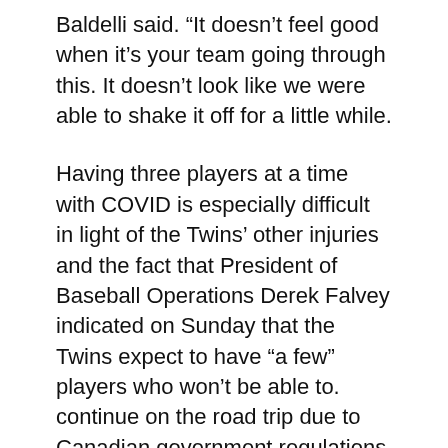Baldelli said. “It doesn’t feel good when it’s your team going through this. It doesn’t look like we were able to shake it off for a little while.
Having three players at a time with COVID is especially difficult in light of the Twins’ other injuries and the fact that President of Baseball Operations Derek Falvey indicated on Sunday that the Twins expect to have “a few” players who won’t be able to. continue on the road trip due to Canadian government regulations prohibiting entry to players who have not received the COVID-19 vaccine. Not to mention the fact that the club are currently mired in an 18 game in 17 day streak with no days off.